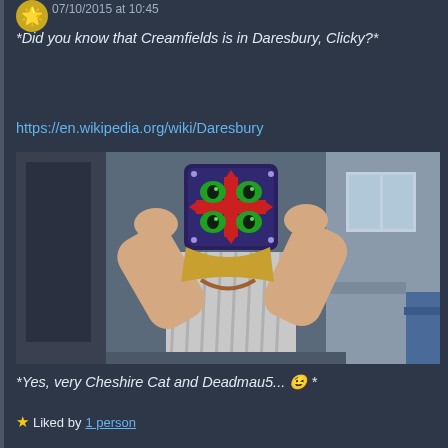07/10/2015 at 10:45
*Did you know that Creamfields is in Daresbury, Clicky?*
https://en.wikipedia.org/wiki/Daresbury
[Figure (photo): A person holding up a colorful decorative mask with green eyes and red cross design in front of their face, taking a mirror selfie in what appears to be an office or corridor.]
*Yes, very Cheshire Cat and Deadmau5... 😉 *
★ Liked by 1 person